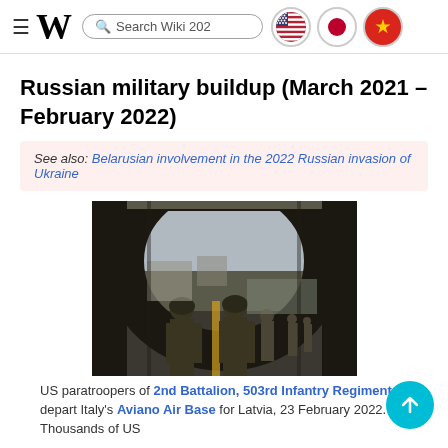≡ W  Search Wiki 202…  🇺🇸  🔴  🟡
Russian military buildup (March 2021 – February 2022)
See also: Belarusian involvement in the 2022 Russian invasion of Ukraine
[Figure (photo): US paratroopers exiting a military cargo aircraft on a tarmac, with more soldiers visible in the background]
US paratroopers of 2nd Battalion, 503rd Infantry Regiment depart Italy's Aviano Air Base for Latvia, 23 February 2022. Thousands of US